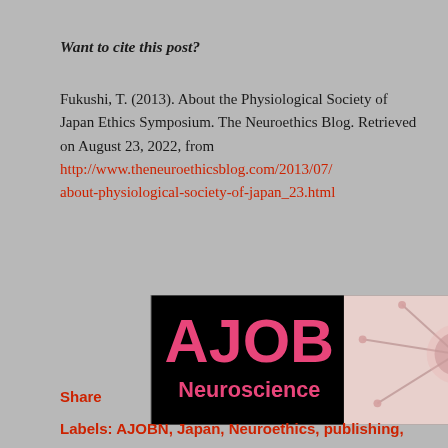Want to cite this post?
Fukushi, T. (2013). About the Physiological Society of Japan Ethics Symposium. The Neuroethics Blog. Retrieved on August 23, 2022, from http://www.theneuroethicsblog.com/2013/07/about-physiological-society-of-japan_23.html
[Figure (logo): AJOB Neuroscience banner logo: black background on left with pink/red 'AJOB' large text and 'Neuroscience' below it; right side shows a neuron illustration on light pink background]
Share
Labels: AJOBN, Japan, Neuroethics, publishing,